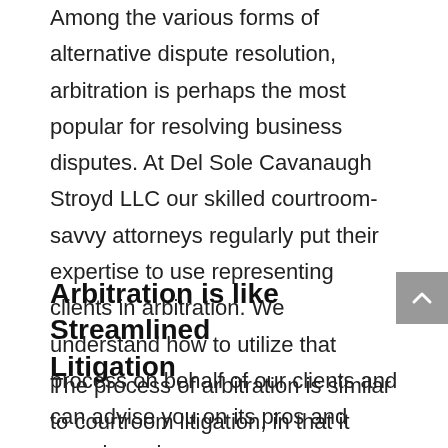Among the various forms of alternative dispute resolution, arbitration is perhaps the most popular for resolving business disputes. At Del Sole Cavanaugh Stroyd LLC our skilled courtroom-savvy attorneys regularly put their expertise to use representing clients in arbitration. We understand how to utilize that process on behalf of our clients and can advise you on its pros and cons in a given case.
Arbitration is like Streamlined Litigation
The process of arbitration is similar to courtroom litigation, in that it involves the presentation of evidence and arguments, testimony and cross-examination of witnesses, ending with a binding